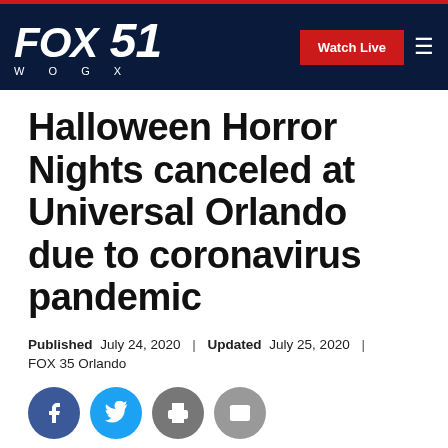FOX 51 WOGX | Watch Live
Halloween Horror Nights canceled at Universal Orlando due to coronavirus pandemic
Published July 24, 2020 | Updated July 25, 2020 | FOX 35 Orlando
[Figure (other): Social sharing icons: Facebook, Twitter, Print, Email]